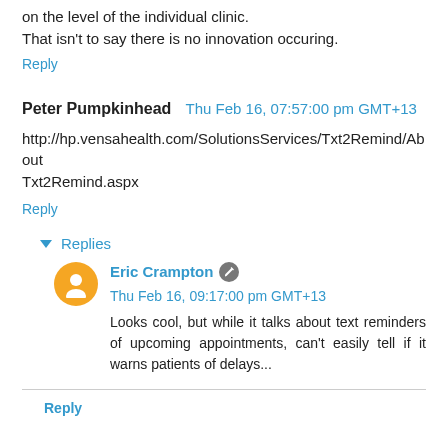on the level of the individual clinic.
That isn't to say there is no innovation occuring.
Reply
Peter Pumpkinhead  Thu Feb 16, 07:57:00 pm GMT+13
http://hp.vensahealth.com/SolutionsServices/Txt2Remind/AboutTxt2Remind.aspx
Reply
Replies
Eric Crampton  Thu Feb 16, 09:17:00 pm GMT+13
Looks cool, but while it talks about text reminders of upcoming appointments, can't easily tell if it warns patients of delays...
Reply